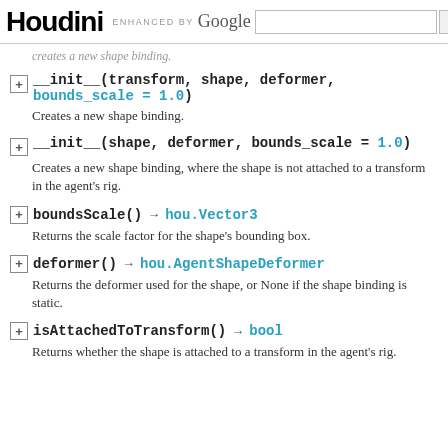Houdini | ENHANCED BY Google | Search
creates a new shape binding.
__init__(transform, shape, deformer, bounds_scale = 1.0)
Creates a new shape binding.
__init__(shape, deformer, bounds_scale = 1.0)
Creates a new shape binding, where the shape is not attached to a transform in the agent's rig.
boundsScale() → hou.Vector3
Returns the scale factor for the shape's bounding box.
deformer() → hou.AgentShapeDeformer
Returns the deformer used for the shape, or None if the shape binding is static.
isAttachedToTransform() → bool
Returns whether the shape is attached to a transform in the agent's rig.